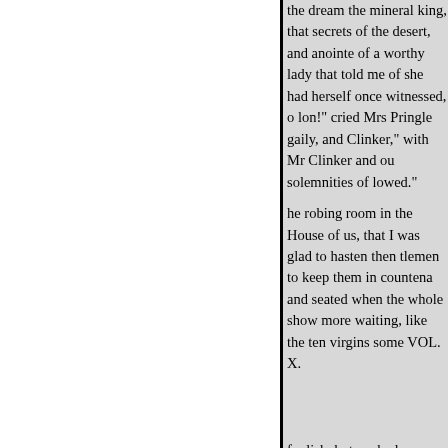the dream the mineral king, that secrets of the desert, and anointe of a worthy lady that told me of she had herself once witnessed, o lon!" cried Mrs Pringle gaily, and Clinker," with Mr Clinker and ou solemnities of lowed."
he robing room in the House of us, that I was glad to hasten then tlemen to keep them in countena and seated when the whole show more waiting, like the ten virgins some VOL. X.
foolish, but we had no lamps, wh was coming. pose he was her gu of her speech, for she was plaino on bounced among us with a trou backwards and the ladies round l expanse, there was not made us a may well
ak: next came the Peeresses, and